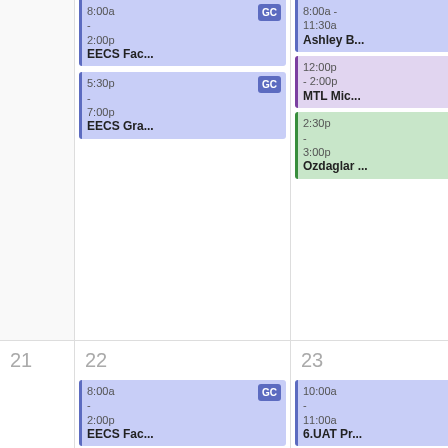[Figure (screenshot): Calendar view showing weekly schedule with event blocks. Top half shows events for days 18-20 (partial), bottom half shows days 21-24. Events include EECS Fac..., EECS Gra..., MTL Mic..., Ozdaglar..., Ashley B..., 6.UAT Pr... with GC, GB, GA badges indicating calendar owners.]